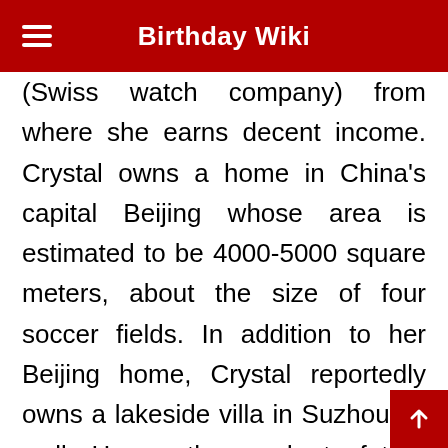Birthday Wiki
(Swiss watch company) from where she earns decent income. Crystal owns a home in China's capital Beijing whose area is estimated to be 4000-5000 square meters, about the size of four soccer fields. In addition to her Beijing home, Crystal reportedly owns a lakeside villa in Suzhou as well. Her mother and stepfather also forked over 1.8 million RMB to hold Crystal's coming-of-age ceremony at the Diaoyutai State Guesthouse in Beijing, which is primarily used to house important foreign guests.